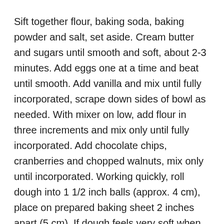Sift together flour, baking soda, baking powder and salt, set aside. Cream butter and sugars until smooth and soft, about 2-3 minutes. Add eggs one at a time and beat until smooth. Add vanilla and mix until fully incorporated, scrape down sides of bowl as needed. With mixer on low, add flour in three increments and mix only until fully incorporated. Add chocolate chips, cranberries and chopped walnuts, mix only until incorporated. Working quickly, roll dough into 1 1/2 inch balls (approx. 4 cm), place on prepared baking sheet 2 inches apart (5 cm). If dough feels very soft when rolling, place baking sheet with dough balls in refrigerator for 5 minutes before baking. Bake for 16-20 minutes or until done. Cool and baking sheet for 2 minutes before transferring to cooling rack. Enjoy!